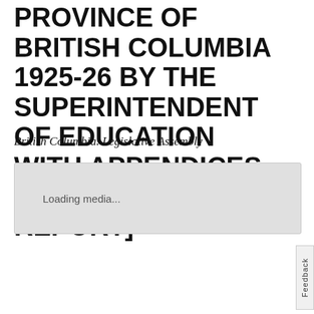PROVINCE OF BRITISH COLUMBIA 1925-26 BY THE SUPERINTENDENT OF EDUCATION WITH APPENDICES [PART I. GENERAL REPORT]
British Columbia. Legislative Assembly
[Figure (other): Loading media placeholder box with text 'Loading media...']